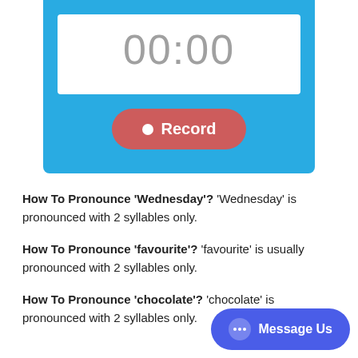[Figure (screenshot): A recording widget with a timer showing 00:00 and a red Record button, inside a blue bordered box]
How To Pronounce ‘Wednesday’?  ‘Wednesday’ is pronounced with 2 syllables only.
How To Pronounce ‘favourite’?  ‘favourite’ is usually pronounced with 2 syllables only.
How To Pronounce ‘chocolate’? 'chocolate' is pronounced with 2 syllables only.
[Figure (screenshot): A blue Message Us chat button in the bottom right corner]